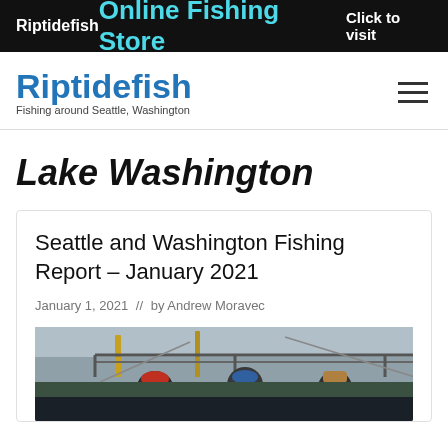Riptidefish — Online Fishing Store — Click to visit
[Figure (logo): Riptidefish site logo with tagline 'Fishing around Seattle, Washington']
Lake Washington
Seattle and Washington Fishing Report – January 2021
January 1, 2021  //  by Andrew Moravec
[Figure (photo): Photo of people on a fishing boat, overcast sky, fishing rods visible]